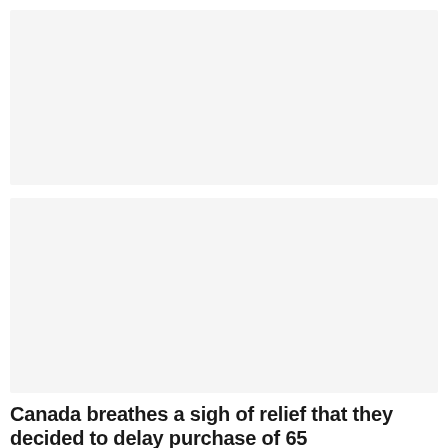[Figure (photo): Placeholder image block 1 - light gray rectangle]
[Figure (photo): Placeholder image block 2 - light gray rectangle]
Canada breathes a sigh of relief that they decided to delay purchase of 65